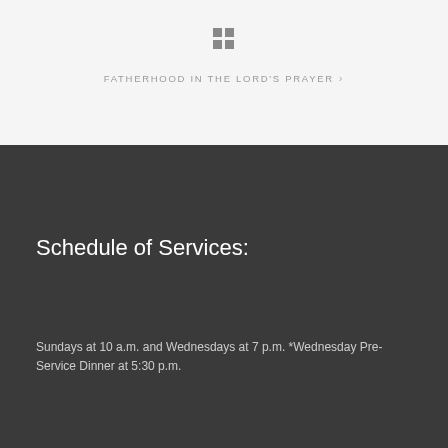[Figure (other): A 2x2 grid icon in dark gray]
FATHERHOOD IN THE LORD'S PRAYER >
Schedule of Services:
Sundays at 10 a.m. and Wednesdays at 7 p.m. *Wednesday Pre-Service Dinner at 5:30 p.m.